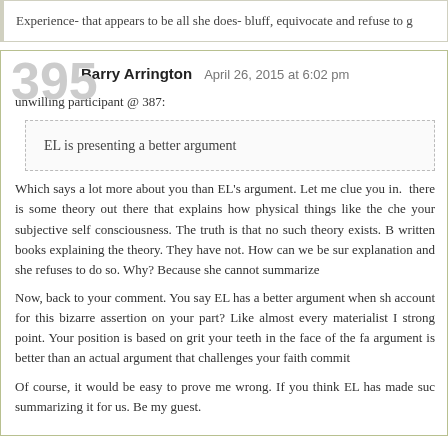Experience- that appears to be all she does- bluff, equivocate and refuse to g
unwilling participant @ 387:
EL is presenting a better argument
Which says a lot more about you than EL's argument. Let me clue you in. there is some theory out there that explains how physical things like the che your subjective self consciousness. The truth is that no such theory exists. B written books explaining the theory. They have not. How can we be sur explanation and she refuses to do so. Why? Because she cannot summarize
Now, back to your comment. You say EL has a better argument when sh account for this bizarre assertion on your part? Like almost every materialist I strong point. Your position is based on grit your teeth in the face of the fa argument is better than an actual argument that challenges your faith commit
Of course, it would be easy to prove me wrong. If you think EL has made su summarizing it for us. Be my guest.